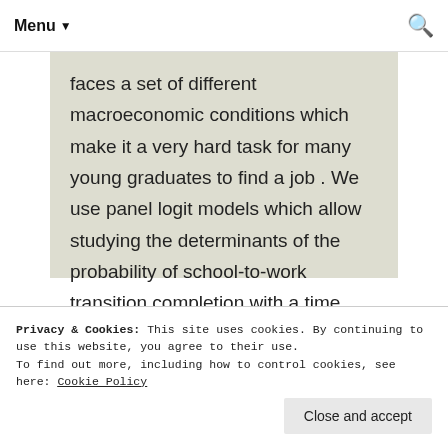Menu ▼   monthly dataset. As most emerging market economies, the Turkish one
faces a set of different macroeconomic conditions which make it a very hard task for many young graduates to find a job . We use panel logit models which allow studying the determinants of the probability of school-to-work transition completion with a time variant model.
Privacy & Cookies: This site uses cookies. By continuing to use this website, you agree to their use.
To find out more, including how to control cookies, see here: Cookie Policy
Close and accept